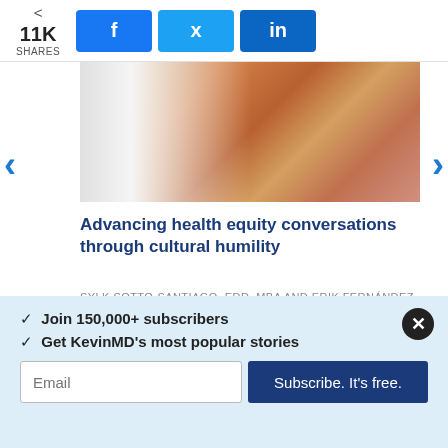11K SHARES | Facebook | Twitter | LinkedIn
[Figure (photo): Partial view of colorful food items (spices or fabrics) with a gray gradient on the left side]
Advancing health equity conversations through cultural humility
SYLK SOTTO-SANTIAGO, EDD, MBA AND ERIK FERNÁNDEZ Y GARCÍA, MD, MPH | POLICY
[Figure (screenshot): Black rectangle representing an embedded video or media block]
✓  Join 150,000+ subscribers
✓  Get KevinMD's most popular stories
Email | Subscribe. It's free.